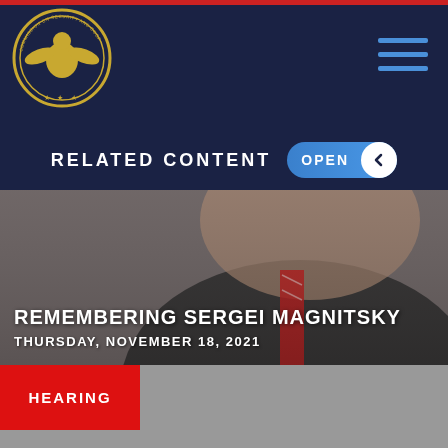[Figure (logo): Commission on Security and Cooperation in Europe (Helsinki Commission) seal — gold eagle emblem on dark navy circle]
RELATED CONTENT  OPEN
[Figure (photo): Close-up photo of a man in a dark suit and red striped tie, smiling, overlaid with text about the hearing]
REMEMBERING SERGEI MAGNITSKY
THURSDAY, NOVEMBER 18, 2021
HEARING